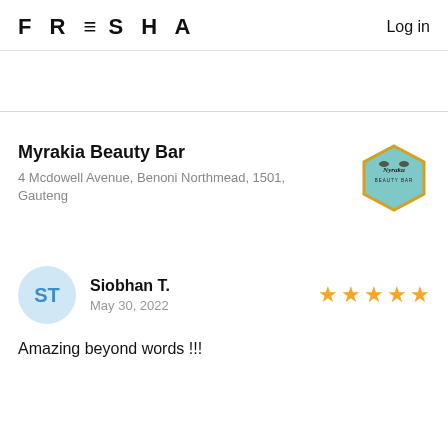FRESHA   Log in
Myrakia Beauty Bar
4 Mcdowell Avenue, Benoni Northmead, 1501, Gauteng
[Figure (logo): Myrakia Beauty Bar hexagonal logo with teal/blue background and cursive text]
ST
Siobhan T.
May 30, 2022
★★★★★
Amazing beyond words !!!